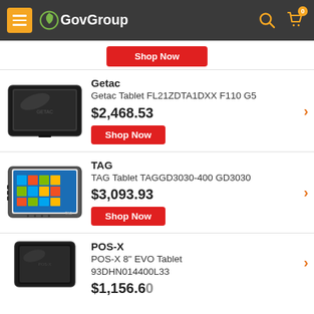GovGroup
[Figure (screenshot): Partial red Shop Now button at top of product listing]
[Figure (photo): Getac rugged tablet product photo - dark tablet with black frame]
Getac
Getac Tablet FL21ZDTA1DXX F110 G5
$2,468.53
Shop Now
[Figure (photo): TAG rugged tablet product photo - tablet with Windows 10 display]
TAG
TAG Tablet TAGGD3030-400 GD3030
$3,093.93
Shop Now
[Figure (photo): POS-X tablet product photo - dark tablet partially visible]
POS-X
POS-X 8" EVO Tablet 93DHN014400L33
$1,156.60